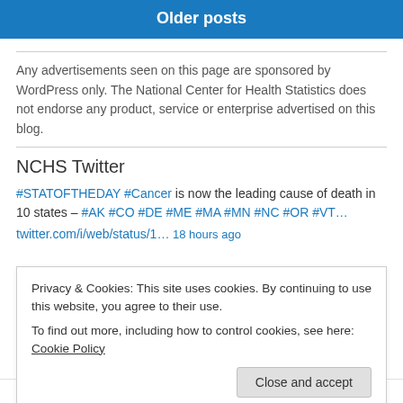Older posts
Any advertisements seen on this page are sponsored by WordPress only. The National Center for Health Statistics does not endorse any product, service or enterprise advertised on this blog.
NCHS Twitter
#STATOFTHEDAY #Cancer is now the leading cause of death in 10 states – #AK #CO #DE #ME #MA #MN #NC #OR #VT… twitter.com/i/web/status/1… 18 hours ago
Privacy & Cookies: This site uses cookies. By continuing to use this website, you agree to their use. To find out more, including how to control cookies, see here: Cookie Policy Close and accept
2019 to 2020 – a nearly 42% drop… twitter.com/i/web/status/1…